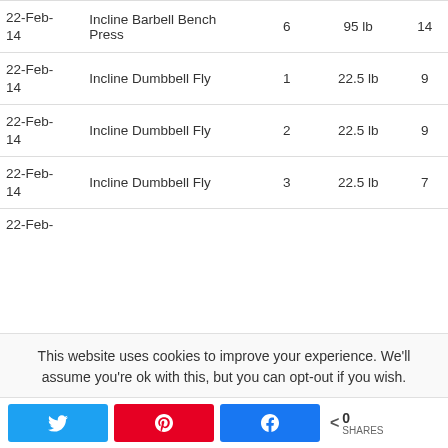| Date | Exercise | Set | Weight | Reps |
| --- | --- | --- | --- | --- |
| 22-Feb-14 | Incline Barbell Bench Press | 6 | 95 lb | 14 |
| 22-Feb-14 | Incline Dumbbell Fly | 1 | 22.5 lb | 9 |
| 22-Feb-14 | Incline Dumbbell Fly | 2 | 22.5 lb | 9 |
| 22-Feb-14 | Incline Dumbbell Fly | 3 | 22.5 lb | 7 |
| 22-Feb-... |  |  |  |  |
This website uses cookies to improve your experience. We'll assume you're ok with this, but you can opt-out if you wish.